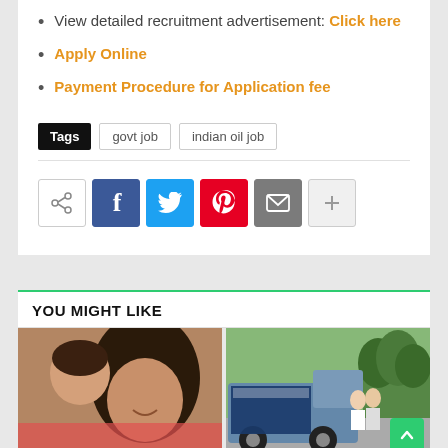View detailed recruitment advertisement: Click here
Apply Online
Payment Procedure for Application fee
Tags   govt job   indian oil job
[Figure (infographic): Social share buttons row: share icon, Facebook, Twitter, Pinterest, Email, Plus]
YOU MIGHT LIKE
[Figure (photo): Woman holding a baby/toddler, smiling]
[Figure (photo): Indian Oil promotional vehicle/van with people standing behind it and trees in background]